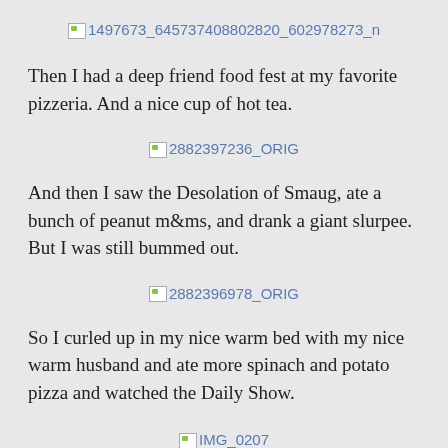[Figure (other): Broken image placeholder link: 1497673_645737408802820_602978273_n]
Then I had a deep friend food fest at my favorite pizzeria. And a nice cup of hot tea.
[Figure (other): Broken image placeholder link: 2882397236_ORIG]
And then I saw the Desolation of Smaug, ate a bunch of peanut m&ms, and drank a giant slurpee. But I was still bummed out.
[Figure (other): Broken image placeholder link: 2882396978_ORIG]
So I curled up in my nice warm bed with my nice warm husband and ate more spinach and potato pizza and watched the Daily Show.
[Figure (other): Broken image placeholder link: IMG_0207]